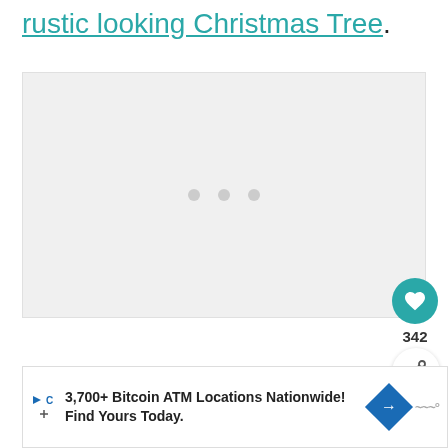rustic looking Christmas Tree.
[Figure (photo): Image placeholder area with three dots indicating loading or slideshow navigation]
342
WHAT'S NEXT → Mason Jar Monster Craft
3,700+ Bitcoin ATM Locations Nationwide! Find Yours Today.